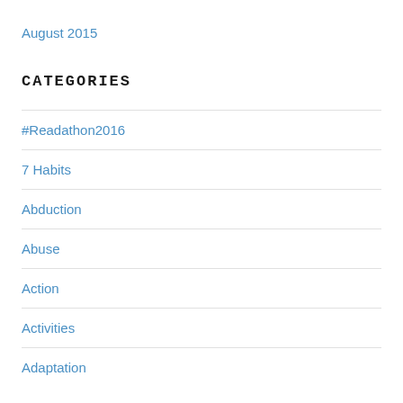August 2015
CATEGORIES
#Readathon2016
7 Habits
Abduction
Abuse
Action
Activities
Adaptation